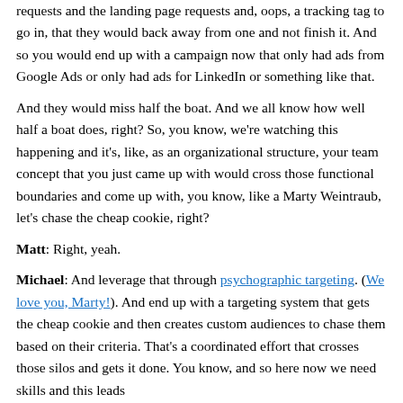requests and the landing page requests and, oops, a tracking tag to go in, that they would back away from one and not finish it. And so you would end up with a campaign now that only had ads from Google Ads or only had ads for LinkedIn or something like that.
And they would miss half the boat. And we all know how well half a boat does, right? So, you know, we're watching this happening and it's, like, as an organizational structure, your team concept that you just came up with would cross those functional boundaries and come up with, you know, like a Marty Weintraub, let's chase the cheap cookie, right?
Matt: Right, yeah.
Michael: And leverage that through psychographic targeting. (We love you, Marty!). And end up with a targeting system that gets the cheap cookie and then creates custom audiences to chase them based on their criteria. That's a coordinated effort that crosses those silos and gets it done. You know, and so here now we need skills and this leads